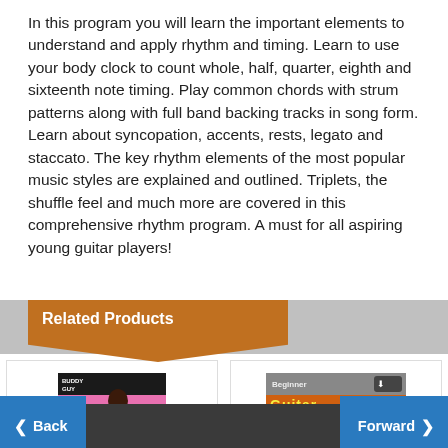In this program you will learn the important elements to understand and apply rhythm and timing. Learn to use your body clock to count whole, half, quarter, eighth and sixteenth note timing. Play common chords with strum patterns along with full band backing tracks in song form. Learn about syncopation, accents, rests, legato and staccato. The key rhythm elements of the most popular music styles are explained and outlined. Triplets, the shuffle feel and much more are covered in this comprehensive rhythm program. A must for all aspiring young guitar players!
Related Products
[Figure (photo): Book cover for HOT LICKS - shows a blues musician on a pink/yellow background]
HOT LICKS
[Figure (photo): Book cover for KOALA MUSIC - shows a guitar magazine/book with a Fender Stratocaster guitar on the cover]
KOALA MUSIC
Back   Forward